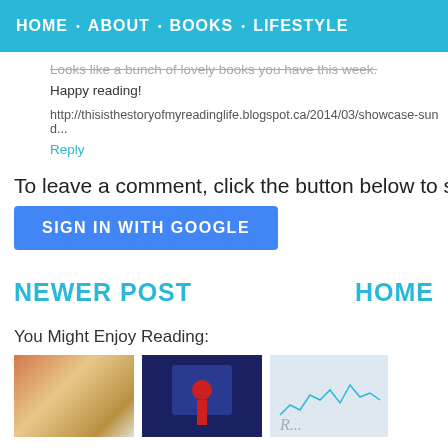HOME · ABOUT · BOOKS · LIFESTYLE
Looks like a bunch of lovely books you have this week.
Happy reading!
http://thisisthestoryofmyreadinglife.blogspot.ca/2014/03/showcase-sund...
Reply
To leave a comment, click the button below to sign in with G...
SIGN IN WITH GOOGLE
NEWER POST
HOME
You Might Enjoy Reading:
[Figure (photo): Thumbnail image of autumn leaves craft]
[Figure (photo): Thumbnail image of stage performance with red prop]
[Figure (photo): Thumbnail image with city skyline sketch and text]